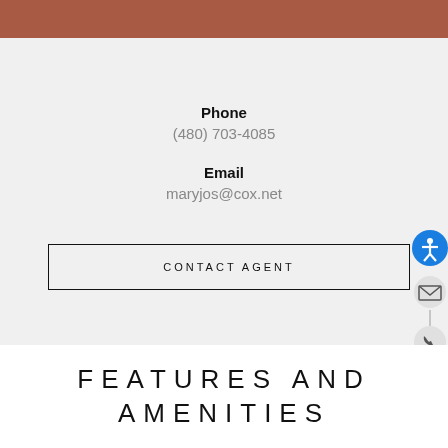Phone
(480) 703-4085
Email
maryjos@cox.net
CONTACT AGENT
[Figure (infographic): Accessibility and contact icons: blue circle with accessibility person icon, envelope/mail icon, phone icon]
FEATURES AND AMENITIES